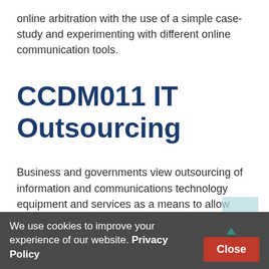online arbitration with the use of a simple case-study and experimenting with different online communication tools.
CCDM011 IT Outsourcing
Business and governments view outsourcing of information and communications technology equipment and services as a means to allow them to focus on their core functions, while maximising their
We use cookies to improve your experience of our website. Privacy Policy  Close